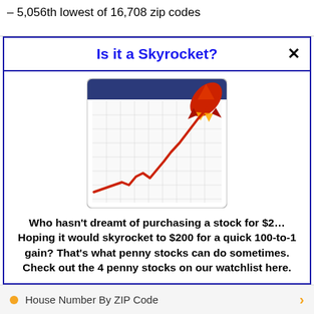– 5,056th lowest of 16,708 zip codes
Is it a Skyrocket?
[Figure (illustration): A stylized illustration of a stock chart on a calendar/grid background with a red skyrocketing line going up and to the right, with a red rocket in the upper right corner.]
Who hasn't dreamt of purchasing a stock for $2… Hoping it would skyrocket to $200 for a quick 100-to-1 gain? That's what penny stocks can do sometimes. Check out the 4 penny stocks on our watchlist here.
>>> See The List <<<
House Number By ZIP Code